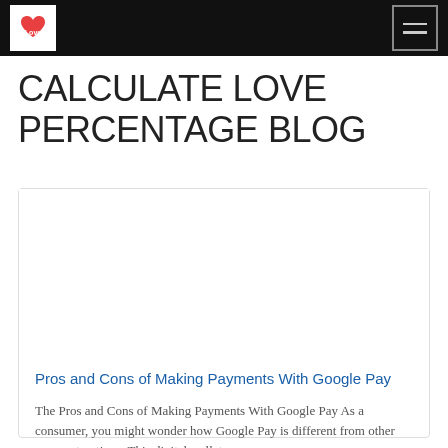CALCULATE LOVE PERCENTAGE BLOG — navigation bar with logo and hamburger menu
CALCULATE LOVE PERCENTAGE BLOG
Pros and Cons of Making Payments With Google Pay
The Pros and Cons of Making Payments With Google Pay As a consumer, you might wonder how Google Pay is different from other payment options. This digital wallet...